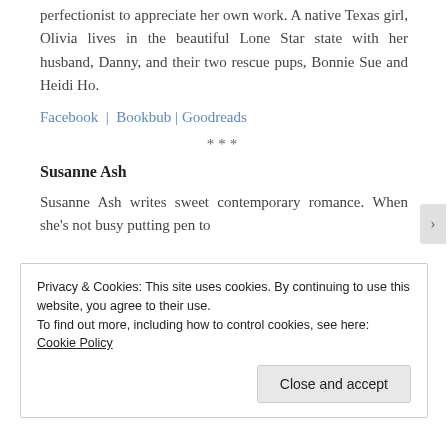perfectionist to appreciate her own work. A native Texas girl, Olivia lives in the beautiful Lone Star state with her husband, Danny, and their two rescue pups, Bonnie Sue and Heidi Ho.
Facebook | Bookbub | Goodreads
***
Susanne Ash
Susanne Ash writes sweet contemporary romance. When she's not busy putting pen to
Privacy & Cookies: This site uses cookies. By continuing to use this website, you agree to their use.
To find out more, including how to control cookies, see here: Cookie Policy
Close and accept